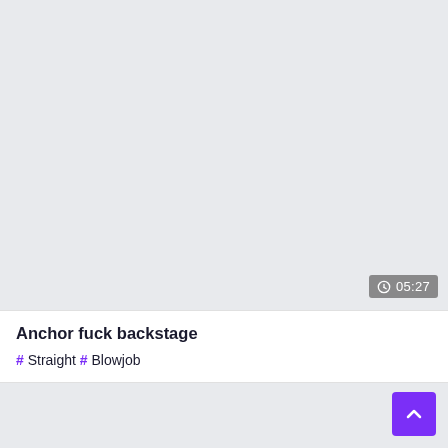[Figure (screenshot): Gray thumbnail area for a video]
Anchor fuck backstage
# Straight # Blowjob